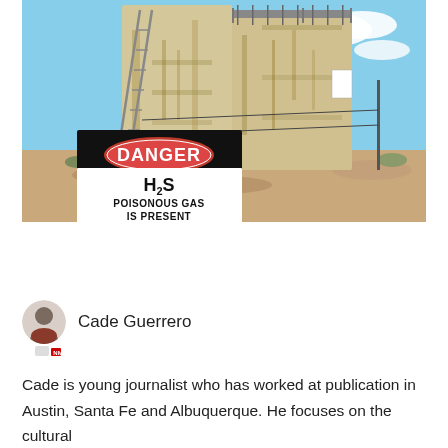[Figure (photo): Photograph of large industrial storage tanks, rusted and weathered, with metal stairs and walkways. In the foreground is a warning sign reading 'DANGER H2S POISONOUS GAS IS PRESENT' with a red oval on black and white background. Desert/arid terrain visible.]
Cade Guerrero
Cade is young journalist who has worked at publication in Austin, Santa Fe and Albuquerque. He focuses on the cultural